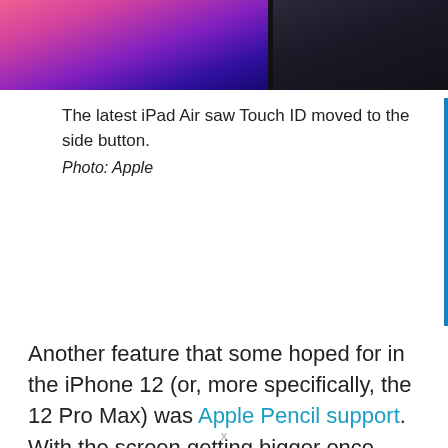[Figure (photo): Two iPad/iPhone images cropped at top: left shows colorful purple-pink gradient screen, right shows dark device]
The latest iPad Air saw Touch ID moved to the side button.
Photo: Apple
Another feature that some hoped for in the iPhone 12 (or, more specifically, the 12 Pro Max) was Apple Pencil support. With the screen getting bigger once again (up 0.2 inches to 6.7 inches), and the popularity of the new Apple Pencil features in iPadOS 14, seeing Pencil support come to the biggest iPhone would have been huge. Instead, we're still left using our fingers, regardless of what